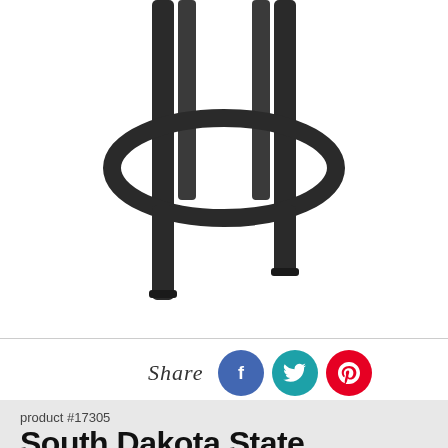[Figure (photo): Bottom portion of a black metal bar stool with circular footrest ring and four legs, photographed on white background]
Share
product #17305
South Dakota State